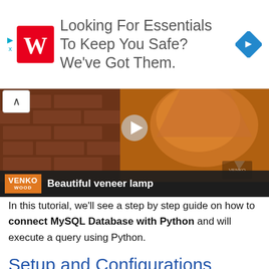[Figure (infographic): Walgreens advertisement banner: red Walgreens W logo on left, text 'Looking For Essentials To Keep You Safe? We've Got Them.' in grey, blue diamond navigation arrow icon on right]
[Figure (screenshot): Video thumbnail showing a veneer lamp against brick wall background with VENKO WOOD logo and title 'Beautiful veneer lamp' in overlay bar]
In this tutorial, we'll see a step by step guide on how to connect MySQL Database with Python and will execute a query using Python.
Setup and Configurations
We need to install some of the tools before making a connection between MySQL Databases